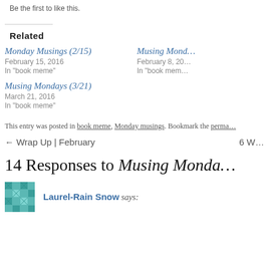Be the first to like this.
Related
Monday Musings (2/15)
February 15, 2016
In "book meme"
Musing Mond…
February 8, 20…
In "book mem…"
Musing Mondays (3/21)
March 21, 2016
In "book meme"
This entry was posted in book meme, Monday musings. Bookmark the perma…
← Wrap Up | February	6 W…
14 Responses to Musing Monda…
Laurel-Rain Snow says: